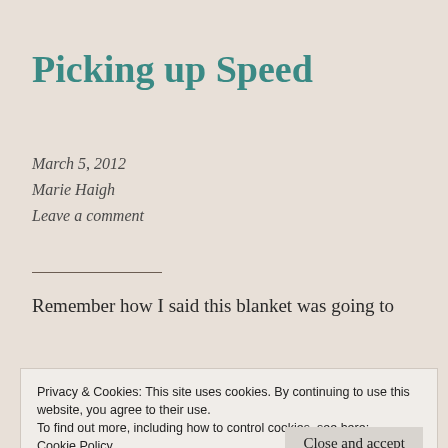Picking up Speed
March 5, 2012
Marie Haigh
Leave a comment
Remember how I said this blanket was going to
Privacy & Cookies: This site uses cookies. By continuing to use this website, you agree to their use.
To find out more, including how to control cookies, see here:
Cookie Policy
each passing day. I am back to bringing my